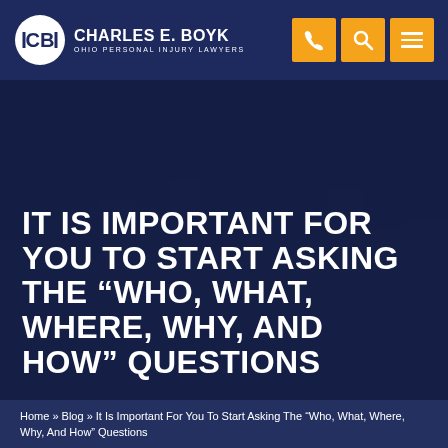[Figure (screenshot): Charles E. Boyk Ohio Personal Injury Lawyers logo with circular shield icon]
CHARLES E. BOYK OHIO PERSONAL INJURY LAWYERS
[Figure (infographic): Navigation icons: phone, search, and hamburger menu in orange squares]
IT IS IMPORTANT FOR YOU TO START ASKING THE “WHO, WHAT, WHERE, WHY, AND HOW” QUESTIONS
Home » Blog » It Is Important For You To Start Asking The “Who, What, Where, Why, And How” Questions